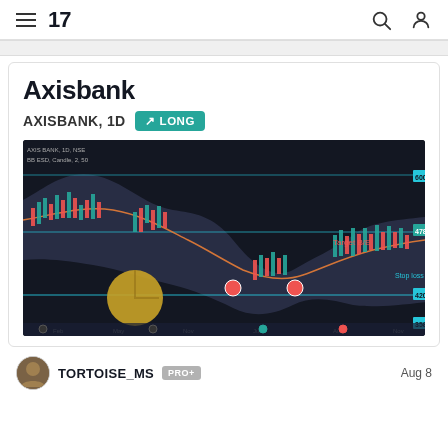TradingView
Axisbank
AXISBANK, 1D  ↗ LONG
[Figure (screenshot): Candlestick chart of AXISBANK on 1D timeframe showing price action with Bollinger Bands, moving averages, horizontal support/resistance levels (cyan lines), a golden circle marker, and annotated target and stop-loss levels on a dark background.]
TORTOISE_MS  PRO+  Aug 8